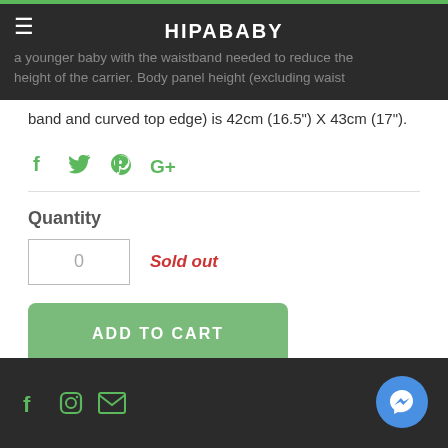HIPABABY
a younger baby with the waistband needed to reduce the height of the carrier. Body panel height (excluding waistband and curved top edge) is 42cm (16.5") X 43cm (17").
Social share icons: Facebook, Twitter, Pinterest, Google+
Quantity
0  Sold out
ADD TO CART
Footer social icons: Facebook, Instagram, Email